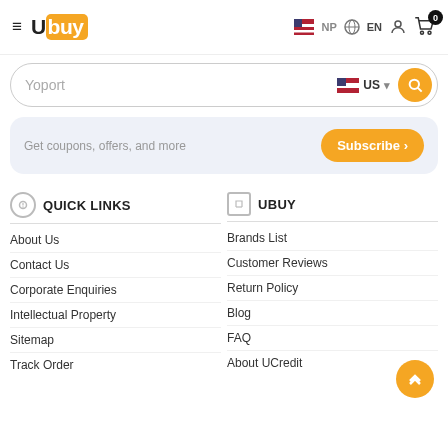≡ Ubuy | NP EN (user) (cart 0)
Yoport
US
Get coupons, offers, and more
Subscribe >
QUICK LINKS
About Us
Contact Us
Corporate Enquiries
Intellectual Property
Sitemap
Track Order
UBUY
Brands List
Customer Reviews
Return Policy
Blog
FAQ
About UCredit